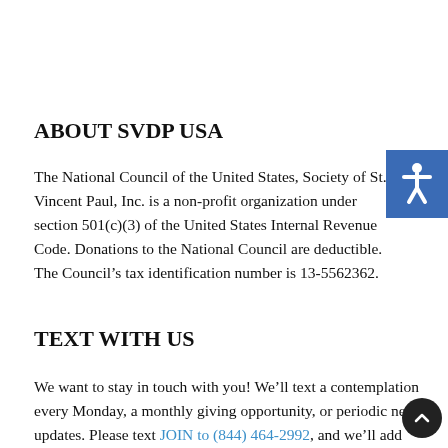ABOUT SVDP USA
The National Council of the United States, Society of St. Vincent Paul, Inc. is a non-profit organization under section 501(c)(3) of the United States Internal Revenue Code. Donations to the National Council are deductible. The Council’s tax identification number is 13-5562362.
TEXT WITH US
We want to stay in touch with you! We’ll text a contemplation every Monday, a monthly giving opportunity, or periodic news updates. Please text JOIN to (844) 464-2992, and we’ll add you to our list.